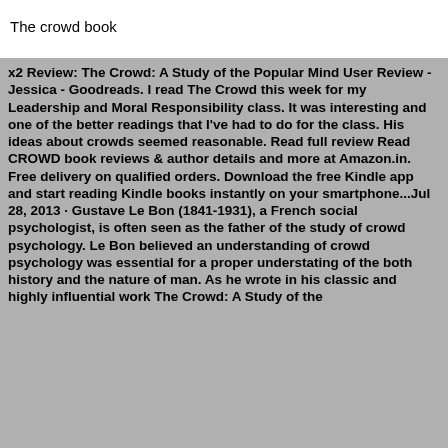The crowd book
x2 Review: The Crowd: A Study of the Popular Mind User Review - Jessica - Goodreads. I read The Crowd this week for my Leadership and Moral Responsibility class. It was interesting and one of the better readings that I've had to do for the class. His ideas about crowds seemed reasonable. Read full review Read CROWD book reviews & author details and more at Amazon.in. Free delivery on qualified orders. Download the free Kindle app and start reading Kindle books instantly on your smartphone...Jul 28, 2013 · Gustave Le Bon (1841-1931), a French social psychologist, is often seen as the father of the study of crowd psychology. Le Bon believed an understanding of crowd psychology was essential for a proper understating of the both history and the nature of man. As he wrote in his classic and highly influential work The Crowd: A Study of the